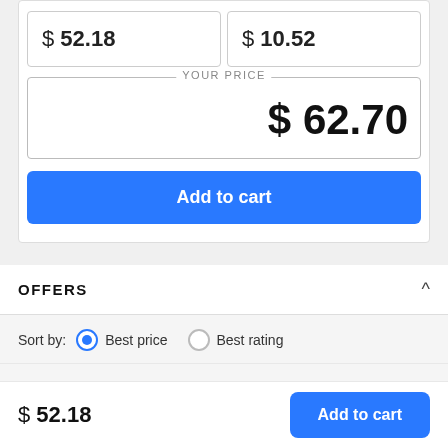$ 52.18
$ 10.52
YOUR PRICE
$ 62.70
Add to cart
OFFERS
Sort by: Best price  Best rating
Instant delivery offers
$ 52.18
Add to cart